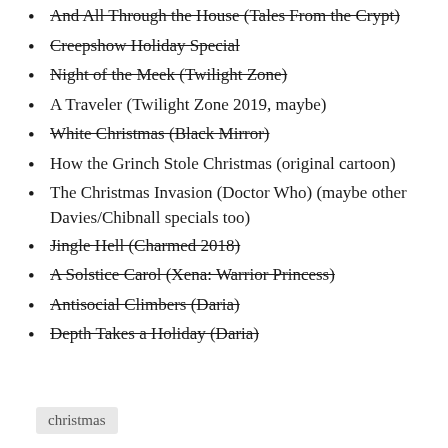And All Through the House (Tales From the Crypt) [strikethrough]
Creepshow Holiday Special [strikethrough]
Night of the Meek (Twilight Zone) [strikethrough]
A Traveler (Twilight Zone 2019, maybe)
White Christmas (Black Mirror) [strikethrough]
How the Grinch Stole Christmas (original cartoon)
The Christmas Invasion (Doctor Who) (maybe other Davies/Chibnall specials too)
Jingle Hell (Charmed 2018) [strikethrough]
A Solstice Carol (Xena: Warrior Princess) [strikethrough]
Antisocial Climbers (Daria) [strikethrough]
Depth Takes a Holiday (Daria) [strikethrough]
christmas